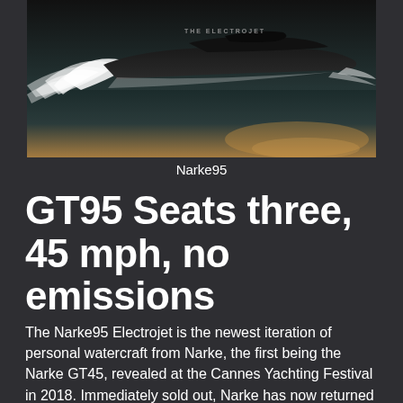[Figure (photo): A sleek black electric personal watercraft called The Electrojet (Narke95) speeding across water, creating large white wake spray, photographed at dusk or dawn with golden reflections on the water.]
Narke95
GT95 Seats three, 45 mph, no emissions
The Narke95 Electrojet is the newest iteration of personal watercraft from Narke, the first being the Narke GT45, revealed at the Cannes Yachting Festival in 2018. Immediately sold out, Narke has now returned with an even better version of their original GT45, the GT95, so named to indicate the new 95 HP provided by the all-electric